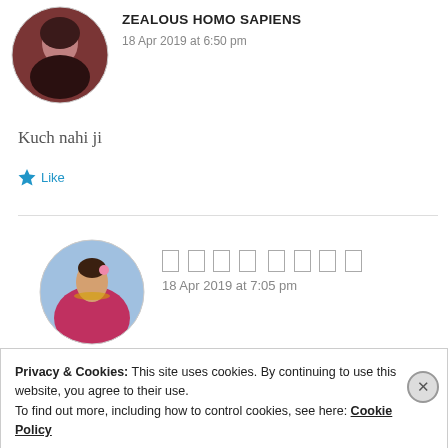[Figure (photo): Circular avatar of a person with dark hair against a reddish-brown background]
ZEALOUS HOMO SAPIENS
18 Apr 2019 at 6:50 pm
Kuch nahi ji
Like
[Figure (photo): Circular avatar of a woman in traditional Indian bridal attire with jewelry and flowers]
[Hindi text - unreadable boxes]
18 Apr 2019 at 7:05 pm
Privacy & Cookies: This site uses cookies. By continuing to use this website, you agree to their use.
To find out more, including how to control cookies, see here: Cookie Policy
Close and accept